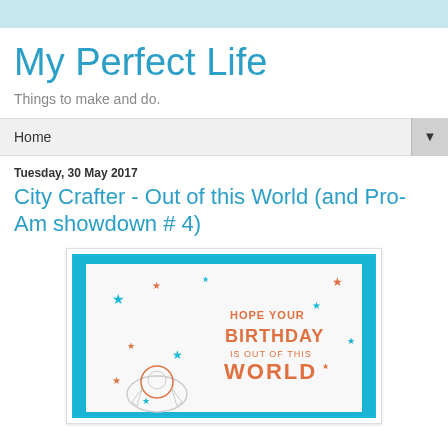My Perfect Life
Things to make and do.
Home ▼
Tuesday, 30 May 2017
City Crafter - Out of this World (and Pro-Am showdown # 4)
[Figure (photo): A handmade birthday card with a blue textured border showing stars and an astronaut/spaceship illustration with orange text reading 'Hope Your Birthday is Out of this World']